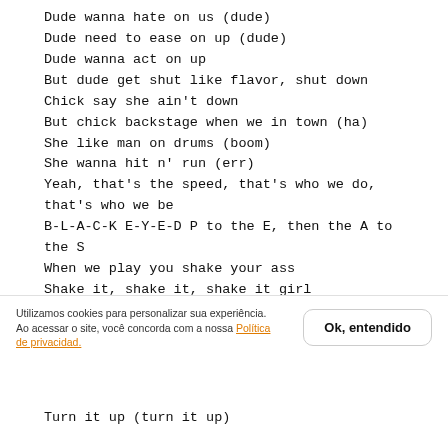Dude wanna hate on us (dude)
Dude need to ease on up (dude)
Dude wanna act on up
But dude get shut like flavor, shut down
Chick say she ain't down
But chick backstage when we in town (ha)
She like man on drums (boom)
She wanna hit n' run (err)
Yeah, that's the speed, that's who we do, that's who we be
B-L-A-C-K E-Y-E-D P to the E, then the A to the S
When we play you shake your ass
Shake it, shake it, shake it girl
Make sure you don't break it, girl, 'cuz we
Utilizamos cookies para personalizar sua experiência. Ao acessar o site, você concorda com a nossa Política de privacidad.
Ok, entendido
Turn it up (turn it up)